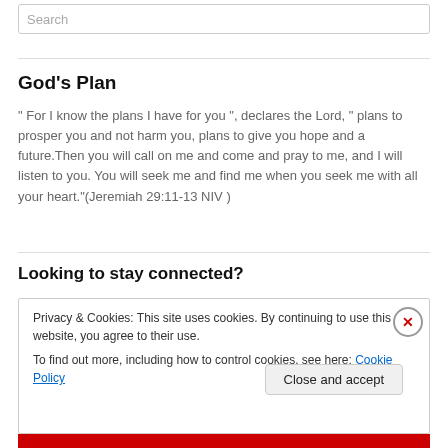Search
God's Plan
" For I know the plans I have for you ", declares the Lord, " plans to prosper you and not harm you, plans to give you hope and a future.Then you will call on me and come and pray to me, and I will listen to you. You will seek me and find me when you seek me with all your heart."(Jeremiah 29:11-13 NIV )
Looking to stay connected?
Privacy & Cookies: This site uses cookies. By continuing to use this website, you agree to their use.
To find out more, including how to control cookies, see here: Cookie Policy
Close and accept